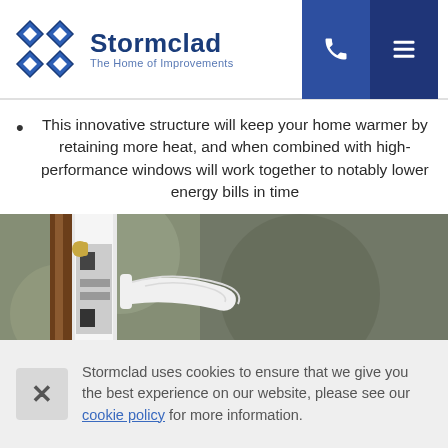Stormclad – The Home of Improvements
This innovative structure will keep your home warmer by retaining more heat, and when combined with high-performance windows will work together to notably lower energy bills in time
[Figure (photo): Close-up photo of a uPVC door frame with a white door handle and lock mechanism, showing the edge of a door with brown frame and a gold-coloured latch, blurred outdoor background]
Stormclad uses cookies to ensure that we give you the best experience on our website, please see our cookie policy for more information.